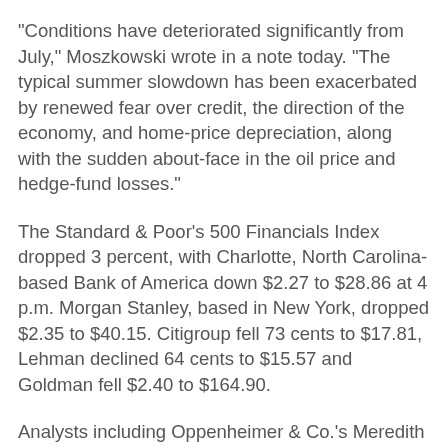"Conditions have deteriorated significantly from July," Moszkowski wrote in a note today. "The typical summer slowdown has been exacerbated by renewed fear over credit, the direction of the economy, and home-price depreciation, along with the sudden about-face in the oil price and hedge-fund losses."
The Standard & Poor's 500 Financials Index dropped 3 percent, with Charlotte, North Carolina-based Bank of America down $2.27 to $28.86 at 4 p.m. Morgan Stanley, based in New York, dropped $2.35 to $40.15. Citigroup fell 73 cents to $17.81, Lehman declined 64 cents to $15.57 and Goldman fell $2.40 to $164.90.
Analysts including Oppenheimer & Co.'s Meredith Whitney and Deutsche Bank AG's Mike Mayo this week cut profit estimates and predicted further writedowns on mortgage-related bonds. Bets in the options market against gains in the S&P Financials Index are within 2.3 percent of a